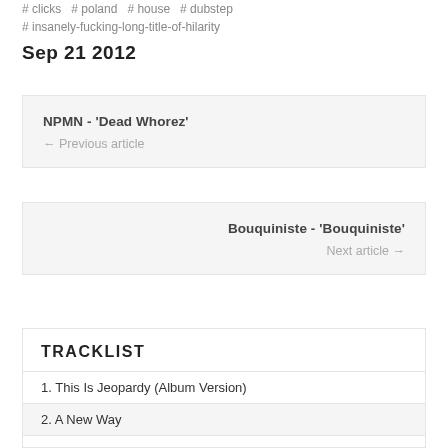# clicks  # poland  # house  # dubstep  # insanely-fucking-long-title-of-hilarity
Sep 21 2012
NPMN - 'Dead Whorez'
← Previous article
Bouquiniste - 'Bouquiniste'
Next article →
TRACKLIST
1. This Is Jeopardy (Album Version)
2. A New Way
3. You're Here To Stay
4. TV (Album Version)